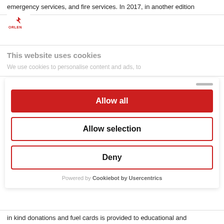emergency services, and fire services. In 2017, in another edition
[Figure (logo): ORLEN company logo - red arrow/flame symbol above red ORLEN text]
This website uses cookies
We use cookies to personalise content and ads, to
[Figure (screenshot): Cookie consent dialog with three buttons: Allow all (red filled), Allow selection (white with red border), Deny (white with red border), and Powered by Cookiebot by Usercentrics footer]
in kind donations and fuel cards is provided to educational and